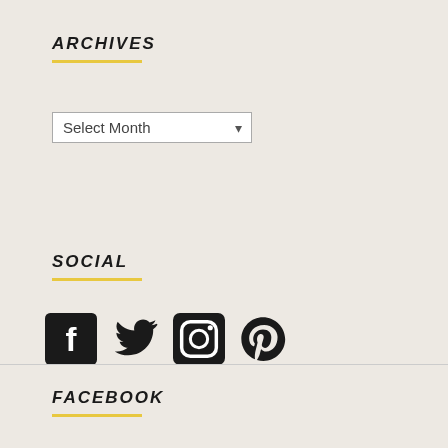ARCHIVES
[Figure (screenshot): A dropdown select box showing 'Select Month' with a down arrow indicator]
SOCIAL
[Figure (infographic): Social media icons: Facebook, Twitter, Instagram, Pinterest]
FACEBOOK